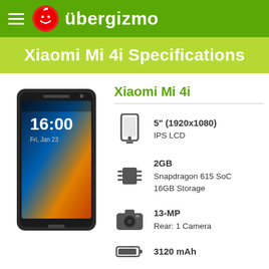übergizmo
Xiaomi Mi 4i Specifications
[Figure (photo): Xiaomi Mi 4i smartphone showing lock screen with time 16:00]
Xiaomi Mi 4i
5" (1920x1080) IPS LCD
2GB Snapdragon 615 SoC 16GB Storage
13-MP Rear: 1 Camera
3120 mAh